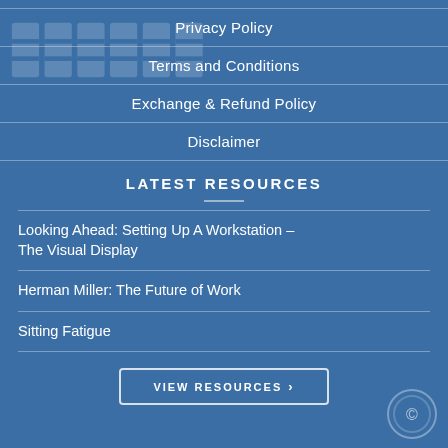[Figure (logo): Watermark logo in background (BESPOKE or similar text logo, faded)]
Privacy Policy
Terms and Conditions
Exchange & Refund Policy
Disclaimer
LATEST RESOURCES
Looking Ahead: Setting Up A Workstation – The Visual Display
Herman Miller: The Future of Work
Sitting Fatigue
VIEW RESOURCES ›